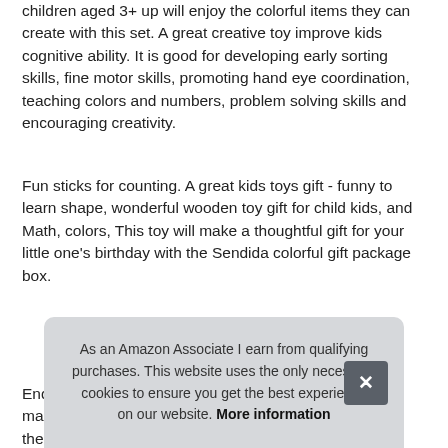children aged 3+. up will enjoy the colorful items they can create with this set. A great creative toy improve kids cognitive ability. It is good for developing early sorting skills, fine motor skills, promoting hand eye coordination, teaching colors and numbers, problem solving skills and encouraging creativity.
Fun sticks for counting. A great kids toys gift - funny to learn shape, wonderful wooden toy gift for child kids, and Math, colors, This toy will make a thoughtful gift for your little one's birthday with the Sendida colorful gift package box.
More information #ad
End... man... the... edu...
As an Amazon Associate I earn from qualifying purchases. This website uses the only necessary cookies to ensure you get the best experience on our website. More information